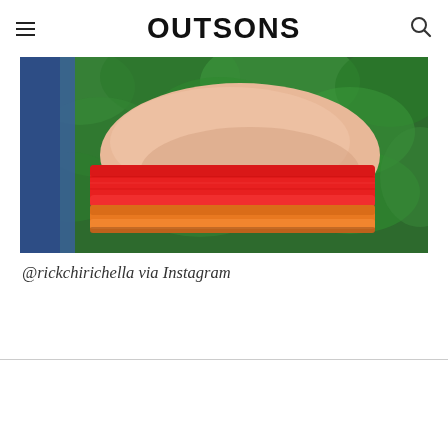OUTSONS
[Figure (photo): Close-up photo of a wrist wearing a red and orange knitted/woven bracelet or sweatband, against a green leafy background and blue fabric on the left side.]
@rickchirichella via Instagram